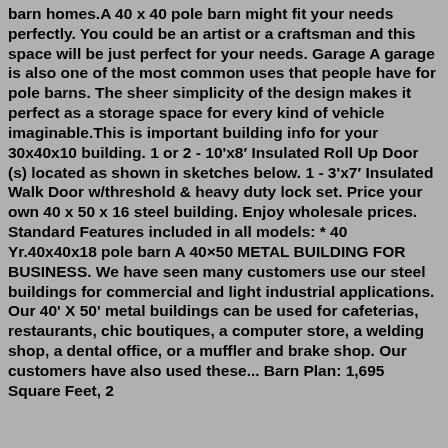barn homes.A 40 x 40 pole barn might fit your needs perfectly. You could be an artist or a craftsman and this space will be just perfect for your needs. Garage A garage is also one of the most common uses that people have for pole barns. The sheer simplicity of the design makes it perfect as a storage space for every kind of vehicle imaginable.This is important building info for your 30x40x10 building. 1 or 2 - 10'x8′ Insulated Roll Up Door (s) located as shown in sketches below. 1 - 3'x7′ Insulated Walk Door w/threshold & heavy duty lock set. Price your own 40 x 50 x 16 steel building. Enjoy wholesale prices. Standard Features included in all models: * 40 Yr.40x40x18 pole barn A 40×50 METAL BUILDING FOR BUSINESS. We have seen many customers use our steel buildings for commercial and light industrial applications. Our 40' X 50' metal buildings can be used for cafeterias, restaurants, chic boutiques, a computer store, a welding shop, a dental office, or a muffler and brake shop. Our customers have also used these... Barn Plan: 1,695 Square Feet, 2